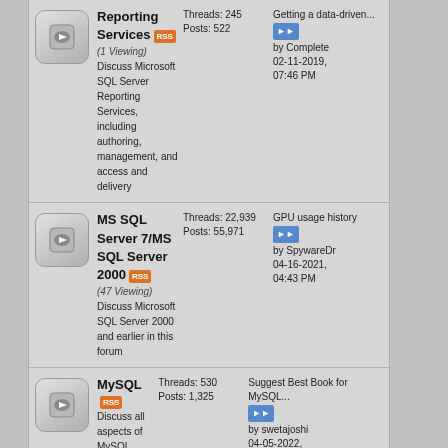Reporting Services (1 Viewing) - Threads: 245, Posts: 522 - Getting a data-driven... by Complete 02-11-2019, 07:46 PM
MS SQL Server 7/MS SQL Server 2000 (47 Viewing) - Threads: 22,939, Posts: 55,971 - GPU usage history by SpywareDr 04-16-2021, 04:43 PM
MySQL - Threads: 530, Posts: 1,325 - Suggest Best Book for MySQL... by swetajoshi 04-05-2022, 08:12 AM
Oracle (Viewing) - Threads: ... - Calculate...